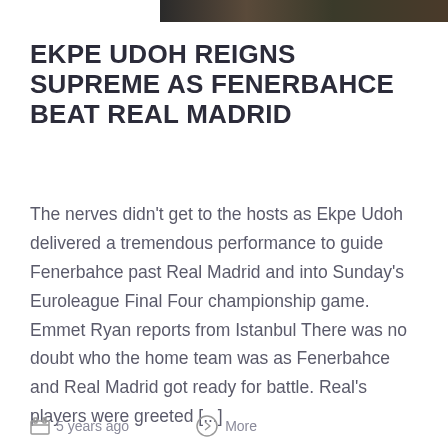[Figure (photo): Partial image strip visible at the top of the page, showing a dark colorful photo cropped at the top edge]
EKPE UDOH REIGNS SUPREME AS FENERBAHCE BEAT REAL MADRID
The nerves didn't get to the hosts as Ekpe Udoh delivered a tremendous performance to guide Fenerbahce past Real Madrid and into Sunday's Euroleague Final Four championship game. Emmet Ryan reports from Istanbul There was no doubt who the home team was as Fenerbahce and Real Madrid got ready for battle. Real's players were greeted [...]
5 years ago   More